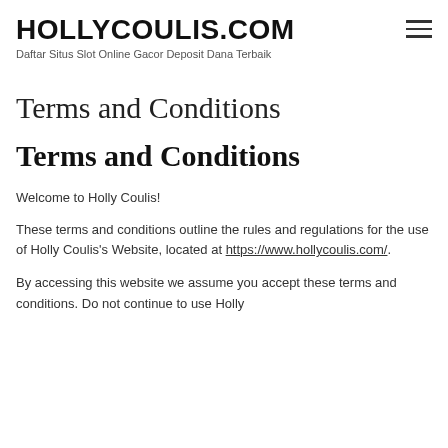HOLLYCOULIS.COM
Daftar Situs Slot Online Gacor Deposit Dana Terbaik
Terms and Conditions
Terms and Conditions
Welcome to Holly Coulis!
These terms and conditions outline the rules and regulations for the use of Holly Coulis's Website, located at https://www.hollycoulis.com/.
By accessing this website we assume you accept these terms and conditions. Do not continue to use Holly